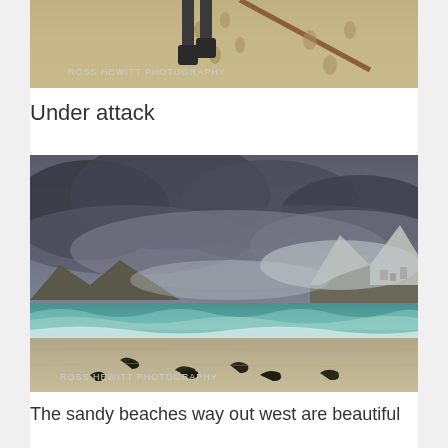[Figure (photo): Bottom portion of a person standing on sandy beach with a stick/pole, footprints visible in sand. Watermark: ROSS HEWITT PHOTOGRAPHY]
Under attack
[Figure (photo): Beach scene with turquoise waves, sandy shore with seaweed pieces, snow-capped mountains in background shrouded in dark stormy clouds. Watermark: ROSS HEWITT PHOTOGRAPHY]
The sandy beaches way out west are beautiful